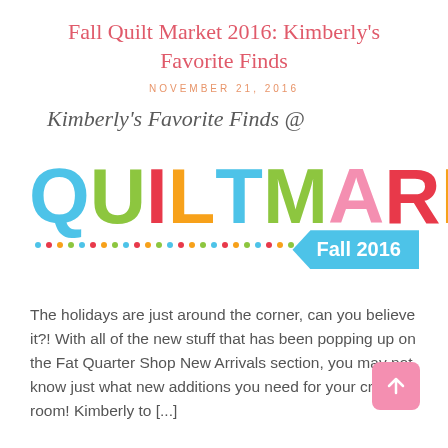Fall Quilt Market 2016: Kimberly's Favorite Finds
NOVEMBER 21, 2016
[Figure (logo): Kimberly's Favorite Finds @ QUILT MARKET Fall 2016 logo with colorful letters and dotted line decoration]
The holidays are just around the corner, can you believe it?! With all of the new stuff that has been popping up on the Fat Quarter Shop New Arrivals section, you may not know just what new additions you need for your crafting room! Kimberly to [...]